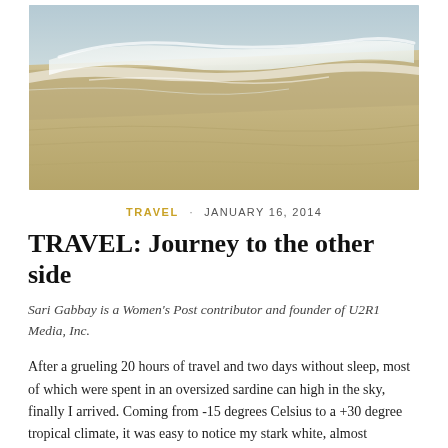[Figure (photo): Beach photo showing ocean waves washing onto a sandy shore, viewed from above at an angle. White foamy waves contrast with wet dark sand and dry light sand.]
TRAVEL · JANUARY 16, 2014
TRAVEL: Journey to the other side
Sari Gabbay is a Women's Post contributor and founder of U2R1 Media, Inc.
After a grueling 20 hours of travel and two days without sleep, most of which were spent in an oversized sardine can high in the sky, finally I arrived. Coming from -15 degrees Celsius to a +30 degree tropical climate, it was easy to notice my stark white, almost translucent skin as I stepped off the fishing boat, the